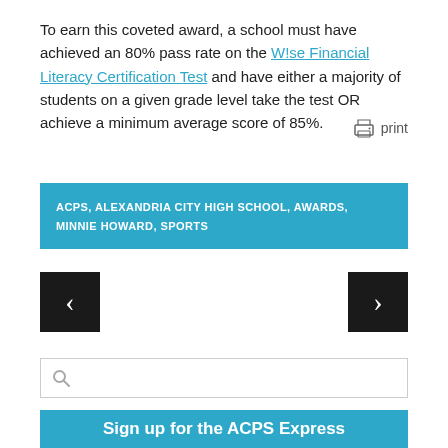To earn this coveted award, a school must have achieved an 80% pass rate on the W!se Financial Literacy Certification Test and have either a majority of students on a given grade level take the test OR achieve a minimum average score of 85%.
print
ACPS, ALEXANDRIA CITY HIGH SCHOOL, AWARDS, MINNIE HOWARD, SPORTS
[Figure (other): Left navigation arrow button (dark background with < chevron)]
[Figure (other): Right navigation arrow button (dark background with > chevron)]
[Figure (other): Search input box with magnifying glass icon]
Sign up for the ACPS Express